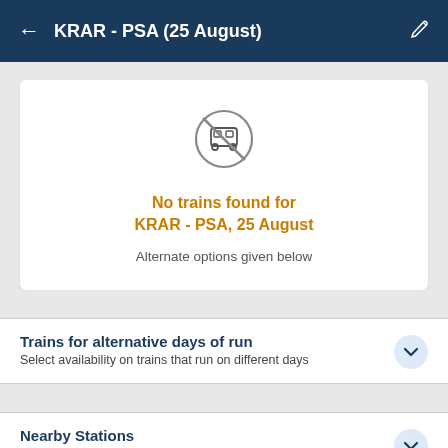KRAR - PSA (25 August)
[Figure (illustration): Train with a circle-slash (no trains) icon]
No trains found for KRAR - PSA, 25 August
Alternate options given below
Trains for alternative days of run
Select availability on trains that run on different days
Nearby Stations
Trains to stations closer to Khariar Road (KRAR)